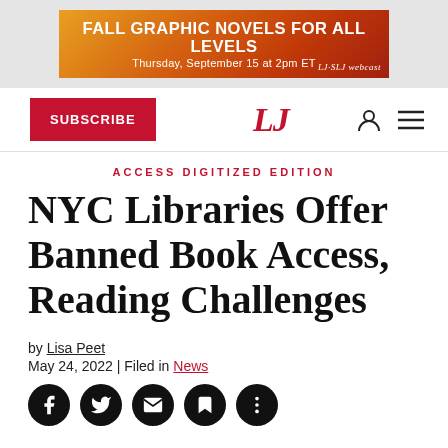[Figure (infographic): Orange/red gradient advertisement banner: FALL GRAPHIC NOVELS FOR ALL LEVELS, Thursday, September 15 at 2pm ET, with LJ SLJ webcast logo]
SUBSCRIBE | LJ (logo) | person icon | menu icon
ACCESS DIGITIZED EDITION
NYC Libraries Offer Banned Book Access, Reading Challenges
by Lisa Peet
May 24, 2022 | Filed in News